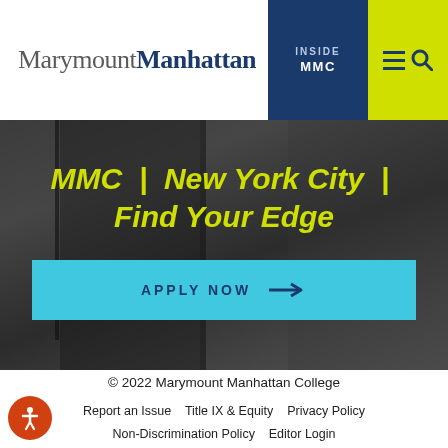MarymountManhattan — INSIDE MMC
[Figure (screenshot): Hero image of students walking in New York City, overlaid with yellow italic text 'MMC | New York City | Find Your Edge' and a cyan Apply Now button]
MMC  |  New York City  |  Find Your Edge
APPLY NOW →
© 2022 Marymount Manhattan College
Report an Issue   Title IX & Equity   Privacy Policy   Non-Discrimination Policy   Editor Login